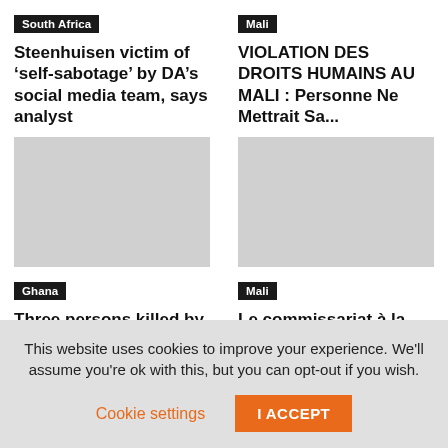South Africa
Steenhuisen victim of 'self-sabotage' by DA's social media team, says analyst
Mali
VIOLATION DES DROITS HUMAINS AU MALI : Personne Ne Mettrait Sa...
[Figure (photo): Image placeholder for Ghana article]
Ghana
Three persons killed by unknown assailants at Bawku
[Figure (photo): Image placeholder for Mali article]
Mali
Le commissariat à la sécurité alimentaire offre des céréales aux communes...
This website uses cookies to improve your experience. We'll assume you're ok with this, but you can opt-out if you wish.
Cookie settings
I ACCEPT